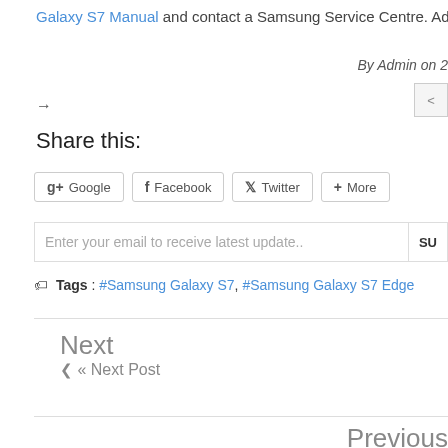Galaxy S7 Manual and contact a Samsung Service Centre. Advertisement
By Admin on 2
→
Share this:
Google  Facebook  Twitter  More
Enter your email to receive latest update.. SU
Tags : #Samsung Galaxy S7, #Samsung Galaxy S7 Edge
Next
« Next Post
Previous
Previous Post »